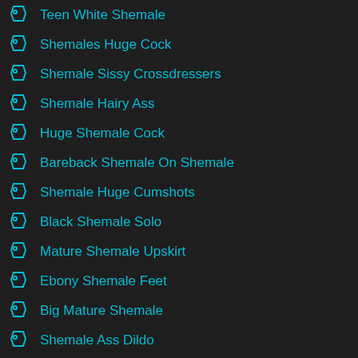Teen White Shemale
Shemales Huge Cock
Shemale Sissy Crossdressers
Shemale Hairy Ass
Huge Shemale Cock
Bareback Shemale On Shemale
Shemale Huge Cumshots
Black Shemale Solo
Mature Shemale Upskirt
Ebony Shemale Feet
Big Mature Shemale
Shemale Ass Dildo
Big Fat Shemale
Shemales In Thigh High Boots
Teen Shemale Feet
Shemale Hairy Cock